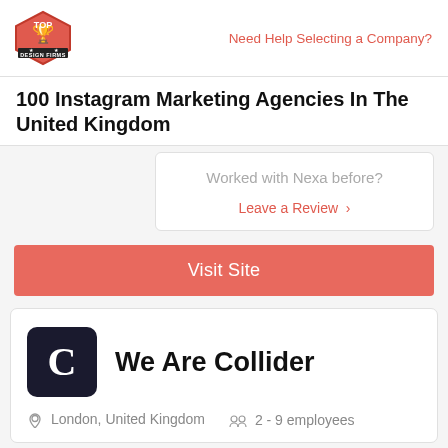Top Design Firms | Need Help Selecting a Company?
100 Instagram Marketing Agencies In The United Kingdom
Worked with Nexa before?
Leave a Review >
Visit Site
We Are Collider
London, United Kingdom   2 - 9 employees